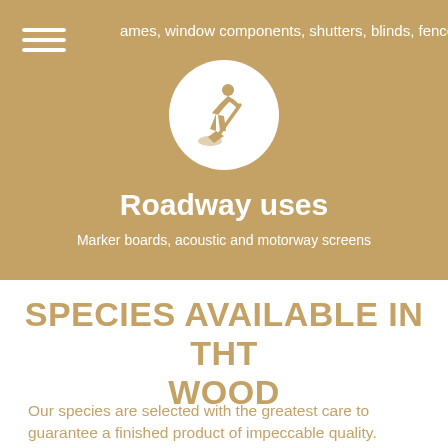ames, window components, shutters, blinds, fences, doors
[Figure (illustration): White circle on golden-tan background containing a silhouette icon of a person digging with a shovel]
Roadway uses
Marker boards, acoustic and motorway screens
SPECIES AVAILABLE IN THT WOOD
Our species are selected with the greatest care to guarantee a finished product of impeccable quality.